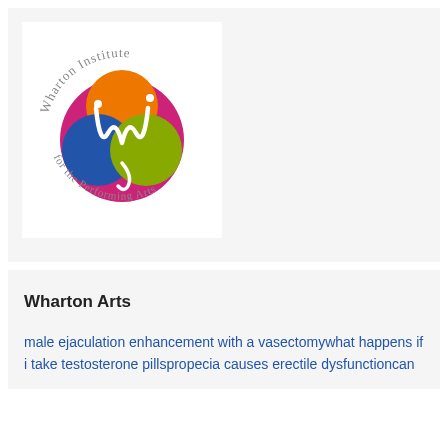[Figure (logo): Wharton Institute for the Performing Arts circular logo with colorful overlapping circles (pink, blue, green, orange) and stylized white W monogram, text arcing around the circle reading 'Wharton Institute for the Performing Arts']
Wharton Arts
male ejaculation enhancement with a vasectomywhat happens if i take testosterone pillspropecia causes erectile dysfunctioncan